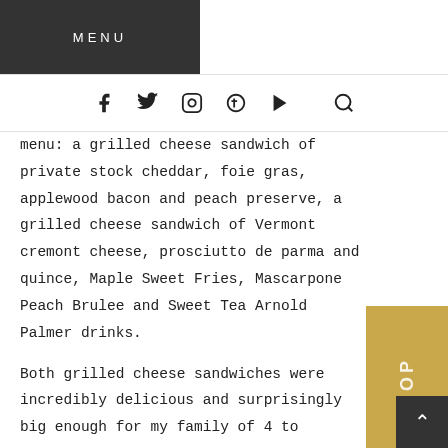MENU
[Figure (other): Social media navigation icons: Facebook, Twitter, Instagram, Pinterest, YouTube, and Search]
menu: a grilled cheese sandwich of private stock cheddar, foie gras, applewood bacon and peach preserve, a grilled cheese sandwich of Vermont cremont cheese, prosciutto de parma and quince, Maple Sweet Fries, Mascarpone Peach Brulee and Sweet Tea Arnold Palmer drinks.
Both grilled cheese sandwiches were incredibly delicious and surprisingly big enough for my family of 4 to